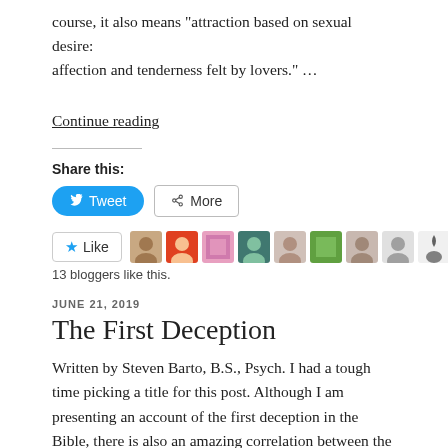course, it also means "attraction based on sexual desire: affection and tenderness felt by lovers." ...
Continue reading
Share this:
[Figure (other): Tweet button (blue, rounded) and More button (outlined) for sharing]
[Figure (other): Like button with star icon and 9 blogger avatar thumbnails]
13 bloggers like this.
JUNE 21, 2019
The First Deception
Written by Steven Barto, B.S., Psych. I had a tough time picking a title for this post. Although I am presenting an account of the first deception in the Bible, there is also an amazing correlation between the punishment God